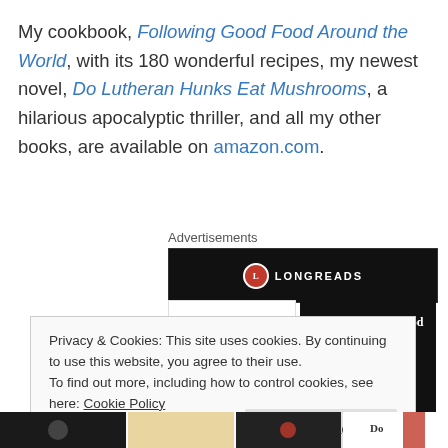My cookbook, Following Good Food Around the World, with its 180 wonderful recipes, my newest novel, Do Lutheran Hunks Eat Mushrooms, a hilarious apocalyptic thriller, and all my other books, are available on amazon.com.
Advertisements
[Figure (other): Longreads advertisement banner with black background and Longreads logo]
[Figure (other): Two book covers: 'EAT ME 169 Fun Recipes From All Over the World' and 'Following Good Food Around the World' with earth image]
Privacy & Cookies: This site uses cookies. By continuing to use this website, you agree to their use.
To find out more, including how to control cookies, see here: Cookie Policy
Close and accept
[Figure (other): Bottom strip of book cover thumbnails including a dark cover and 'Do' text visible]